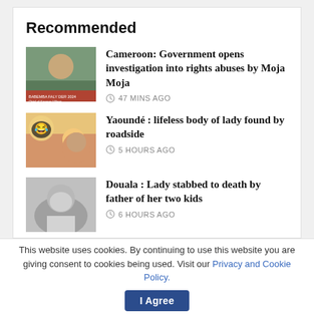Recommended
[Figure (photo): Thumbnail image of a man with traditional clothing, news graphic overlay text at bottom]
Cameroon: Government opens investigation into rights abuses by Moja Moja
47 MINS AGO
[Figure (photo): Thumbnail image of a woman with emoji stickers overlay]
Yaoundé : lifeless body of lady found by roadside
5 HOURS AGO
[Figure (photo): Black and white thumbnail image of a woman]
Douala : Lady stabbed to death by father of her two kids
6 HOURS AGO
This website uses cookies. By continuing to use this website you are giving consent to cookies being used. Visit our Privacy and Cookie Policy.
I Agree